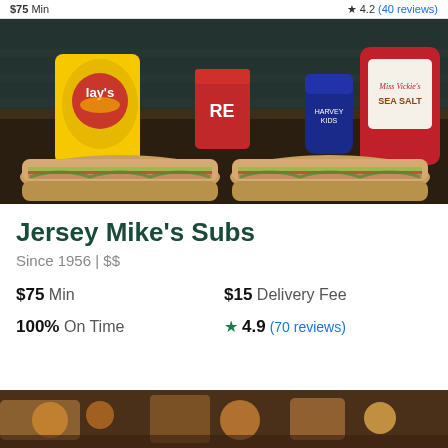$75 Min   ★ 4.2 (40 reviews)
[Figure (photo): Photo of Jersey Mike's Subs restaurant food: two sub sandwiches with toppings, a yellow Lay's chips bag, a red cup with 'RE' visible, a blue can, and a Miss Vickie's Sea Salt chips bag, on a counter with shelving in background]
Jersey Mike's Subs
Since 1956 | $$
$75 Min   $15 Delivery Fee   100% On Time   ★ 4.9 (70 reviews)
[Figure (photo): Partial photo of food at bottom of page, appears to show more restaurant food items]